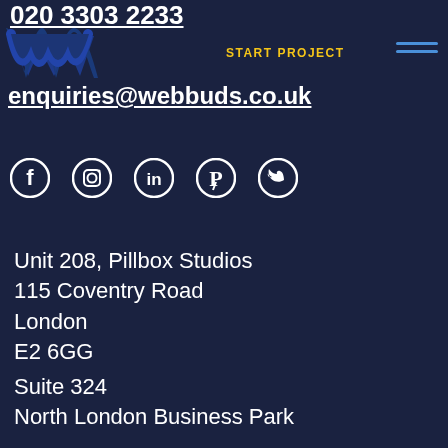020 3303 2233
[Figure (logo): Webbuds logo - dark blue stylized W shape]
START PROJECT
enquiries@webbuds.co.uk
[Figure (infographic): Social media icons: Facebook, Instagram, LinkedIn, Pinterest, Twitter]
Unit 208, Pillbox Studios
115 Coventry Road
London
E2 6GG
Suite 324
North London Business Park
New Southgate
London
N11 1NP